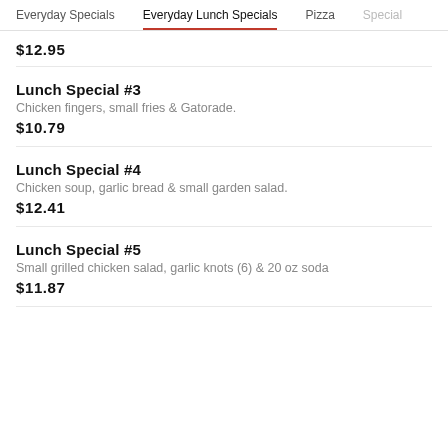Everyday Specials | Everyday Lunch Specials | Pizza | Special
$12.95
Lunch Special #3
Chicken fingers, small fries & Gatorade.
$10.79
Lunch Special #4
Chicken soup, garlic bread & small garden salad.
$12.41
Lunch Special #5
Small grilled chicken salad, garlic knots (6) & 20 oz soda
$11.87